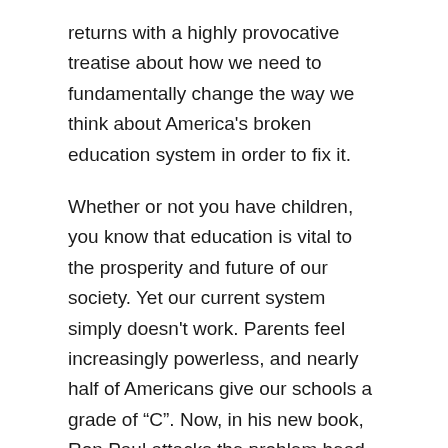returns with a highly provocative treatise about how we need to fundamentally change the way we think about America's broken education system in order to fix it.
Whether or not you have children, you know that education is vital to the prosperity and future of our society. Yet our current system simply doesn't work. Parents feel increasingly powerless, and nearly half of Americans give our schools a grade of “C”. Now, in his new book, Ron Paul attacks the problem head-on and provides a focused solution that centers on strong support for home schooling and the application of free market principles to the American education system.
Examining the history of education in this country, Dr. Paul identifies where we've gone wrong, what we can do about it, and how we can change the way we think about